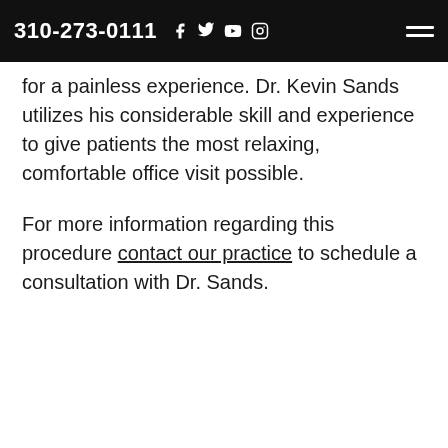310-273-0111  f  𝕏  ▶  ⊙  ☰
for a painless experience. Dr. Kevin Sands utilizes his considerable skill and experience to give patients the most relaxing, comfortable office visit possible.
For more information regarding this procedure contact our practice to schedule a consultation with Dr. Sands.